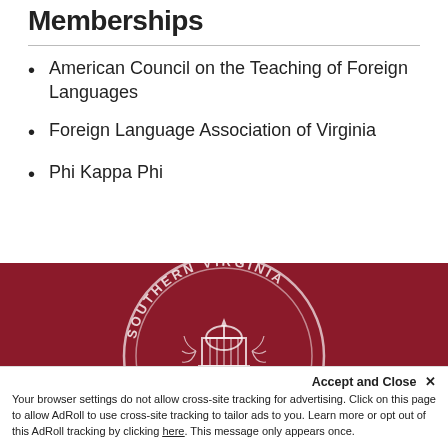Memberships
American Council on the Teaching of Foreign Languages
Foreign Language Association of Virginia
Phi Kappa Phi
[Figure (logo): Southern Virginia University circular seal/logo in white on dark red background]
Accept and Close ✕
Your browser settings do not allow cross-site tracking for advertising. Click on this page to allow AdRoll to use cross-site tracking to tailor ads to you. Learn more or opt out of this AdRoll tracking by clicking here. This message only appears once.